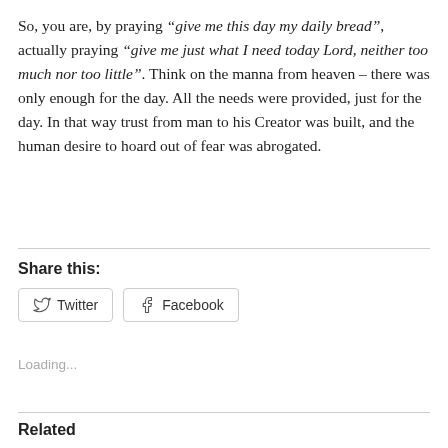So, you are, by praying “give me this day my daily bread”, actually praying “give me just what I need today Lord, neither too much nor too little”. Think on the manna from heaven – there was only enough for the day. All the needs were provided, just for the day. In that way trust from man to his Creator was built, and the human desire to hoard out of fear was abrogated.
Share this:
[Figure (other): Twitter and Facebook share buttons]
Loading...
Related